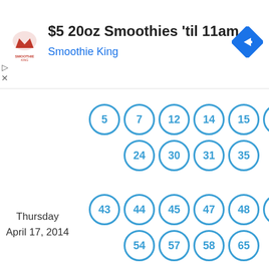[Figure (screenshot): Smoothie King advertisement banner with logo, text '$5 20oz Smoothies til 11am', subtitle 'Smoothie King', and navigation arrow icon]
Thursday
April 17, 2014
[Figure (infographic): Lottery ball numbers for Thursday April 17, 2014: 5, 7, 12, 14, 15, 22, 24, 30, 31, 35, 43, 44, 45, 47, 48, 49, 54, 57, 58, 65, 67, 75]
[Figure (infographic): Lottery ball numbers for Wednesday: 5, 10, 11, 16, 18, 21, 22, 27, 29, 37]